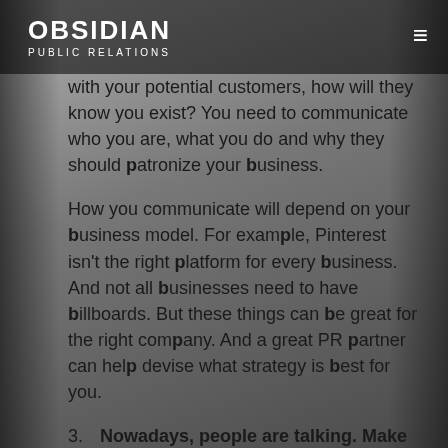OBSIDIAN
PUBLIC RELATIONS
with your potential customers, how will they know you exist? You need to communicate who you are, what you do and why they should patronize your business.
How you communicate will depend on your business model. For example, Pinterest isn't the right platform for every business. And not all businesses need to have billboards. But these things can be great for the right company. And a great PR partner can help devise what strategy is best for you.
3. Nowadays, people are talking. Make it a two-way conversation.
I use Facebook, Pinterest, Twitter, Instagram, Snapchat, GroupMe and G-Chat. I text, play